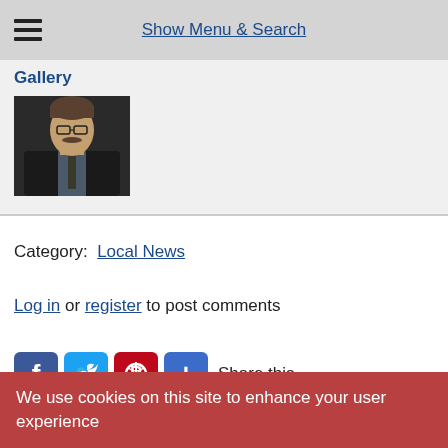Show Menu & Search
Gallery
[Figure (photo): Portrait photo of a middle-aged man with glasses and a moustache wearing a dark suit and tie]
Category: Local News
Log in or register to post comments
[Figure (infographic): Social share buttons: Facebook, Twitter, Pinterest, Google Plus, Share this]
We use cookies on this site to enhance your user experience